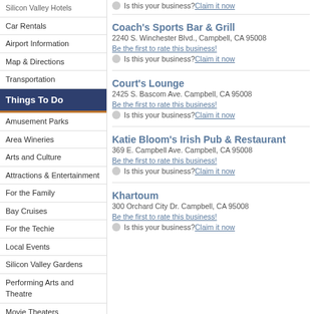Silicon Valley Hotels
Car Rentals
Airport Information
Map & Directions
Transportation
Things To Do
Amusement Parks
Area Wineries
Arts and Culture
Attractions & Entertainment
For the Family
Bay Cruises
For the Techie
Local Events
Silicon Valley Gardens
Performing Arts and Theatre
Movie Theaters
Museums
Odd and Interesting
Silicon Valley Historical Sites
Sightseeing & Tours
Silicon Valley Festivals
Theatre & Concert Venues
Arena & Stadium Venues
Is this your business? Claim it now
Coach's Sports Bar & Grill
2240 S. Winchester Blvd., Campbell, CA 95008
Be the first to rate this business!
Is this your business? Claim it now
Court's Lounge
2425 S. Bascom Ave. Campbell, CA 95008
Be the first to rate this business!
Is this your business? Claim it now
Katie Bloom's Irish Pub & Restaurant
369 E. Campbell Ave. Campbell, CA 95008
Be the first to rate this business!
Is this your business? Claim it now
Khartoum
300 Orchard City Dr. Campbell, CA 95008
Be the first to rate this business!
Is this your business? Claim it now